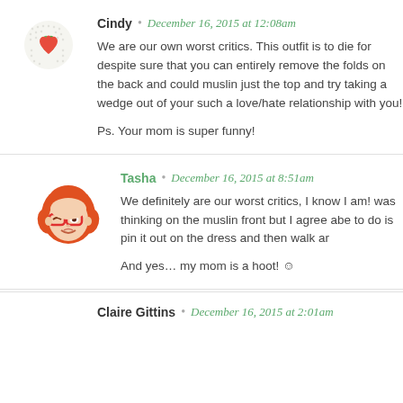Cindy · December 16, 2015 at 12:08am
We are our own worst critics. This outfit is to die for despite sure that you can entirely remove the folds on the back and could muslin just the top and try taking a wedge out of your such a love/hate relationship with you!

Ps. Your mom is super funny!
Tasha · December 16, 2015 at 8:51am
We definitely are our worst critics, I know I am! was thinking on the muslin front but I agree abe to do is pin it out on the dress and then walk ar

And yes… my mom is a hoot! ☺
Claire Gittins · December 16, 2015 at 2:01am